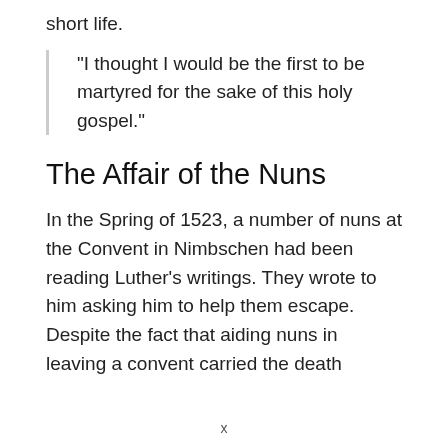short life.
“I thought I would be the first to be martyred for the sake of this holy gospel.”
The Affair of the Nuns
In the Spring of 1523, a number of nuns at the Convent in Nimbschen had been reading Luther’s writings. They wrote to him asking him to help them escape. Despite the fact that aiding nuns in leaving a convent carried the death
x